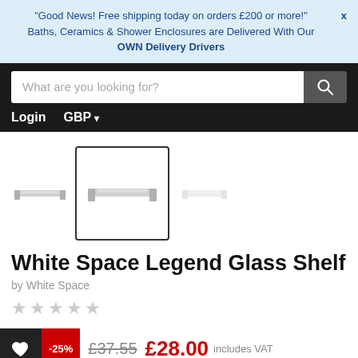"Good News! Free shipping today on orders £200 or more!" X
Baths, Ceramics & Shower Enclosures are Delivered With Our OWN Delivery Drivers
What are you looking for?
Login   GBP ▾
[Figure (photo): Three thumbnail images of a glass shelf product; the middle one is selected with a dark border]
White Space Legend Glass Shelf
by White Space
☆☆☆☆☆
-25%  £37.55  £28.00  includes VAT